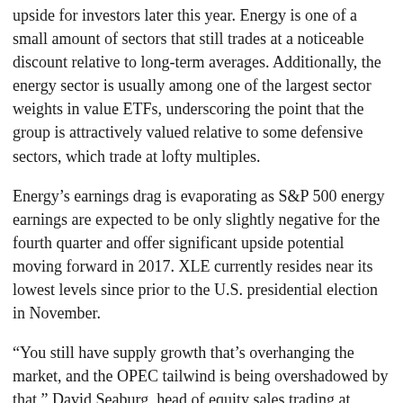upside for investors later this year. Energy is one of a small amount of sectors that still trades at a noticeable discount relative to long-term averages. Additionally, the energy sector is usually among one of the largest sector weights in value ETFs, underscoring the point that the group is attractively valued relative to some defensive sectors, which trade at lofty multiples.
Energy's earnings drag is evaporating as S&P 500 energy earnings are expected to be only slightly negative for the fourth quarter and offer significant upside potential moving forward in 2017. XLE currently resides near its lowest levels since prior to the U.S. presidential election in November.
“You still have supply growth that’s overhanging the market, and the OPEC tailwind is being overshadowed by that,” David Seaburg, head of equity sales trading at Cowen and Co., said in an interview with CNBC, “referring to the tug of war between OPEC production cuts and increasing U.S. supply.”